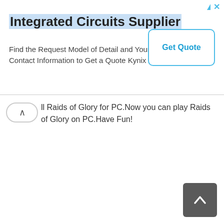[Figure (screenshot): Advertisement banner for Integrated Circuits Supplier (Kynix) with a Get Quote button, ad icons (triangle and X) in top right corner]
ll Raids of Glory for PC.Now you can play Raids of Glory on PC.Have Fun!